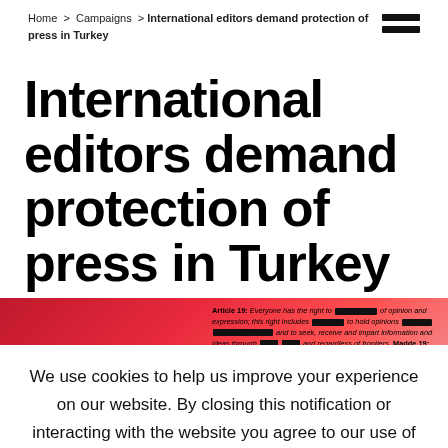Home > Campaigns > International editors demand protection of press in Turkey
International editors demand protection of press in Turkey
[Figure (photo): Red background image with Article 19 text about freedom of opinion and expression, with redacted words in black bars]
We use cookies to help us improve your experience on our website. By closing this notification or interacting with the website you agree to our use of cookies. ACCEPT Find out more